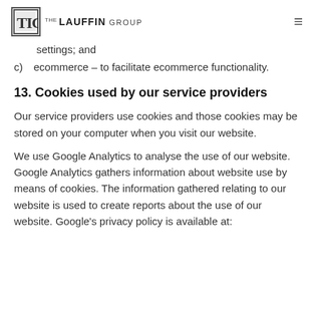THE LAUFFIN GROUP
settings; and
c)  ecommerce – to facilitate ecommerce functionality.
13. Cookies used by our service providers
Our service providers use cookies and those cookies may be stored on your computer when you visit our website.
We use Google Analytics to analyse the use of our website. Google Analytics gathers information about website use by means of cookies. The information gathered relating to our website is used to create reports about the use of our website. Google's privacy policy is available at: